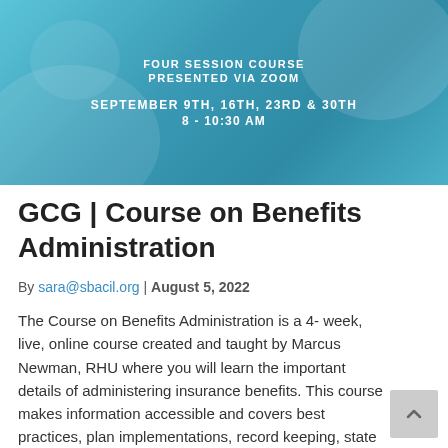[Figure (other): Banner image with teal/blue background and overlaid text reading: FOUR SESSION COURSE / PRESENTED VIA ZOOM / SEPTEMBER 9TH, 16TH, 23RD & 30TH / 8 - 10:30 AM]
GCG | Course on Benefits Administration
By sara@sbacil.org | August 5, 2022
The Course on Benefits Administration is a 4- week, live, online course created and taught by Marcus Newman, RHU where you will learn the important details of administering insurance benefits. This course makes information accessible and covers best practices, plan implementations, record keeping, state and federal regulations, how to make your insurance plan work for...